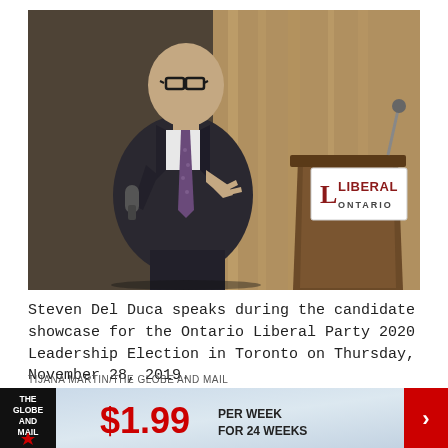[Figure (photo): Steven Del Duca speaking at a podium during the Ontario Liberal Party 2020 Leadership Election candidate showcase. He is a bald man in a dark suit holding a microphone, with a Liberal Ontario branded podium visible in the background and curtains behind.]
Steven Del Duca speaks during the candidate showcase for the Ontario Liberal Party 2020 Leadership Election in Toronto on Thursday, November 28, 2019.
TIJANA MARTIN/THE GLOBE AND MAIL
[Figure (infographic): Globe and Mail subscription advertisement banner: $1.99 per week for 24 weeks, with Globe and Mail logo on left and red arrow on right.]